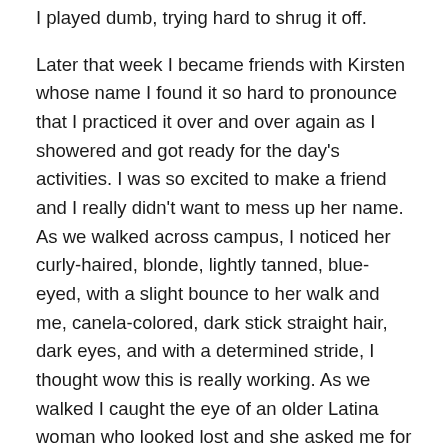I played dumb, trying hard to shrug it off.
Later that week I became friends with Kirsten whose name I found it so hard to pronounce that I practiced it over and over again as I showered and got ready for the day's activities. I was so excited to make a friend and I really didn't want to mess up her name. As we walked across campus, I noticed her curly-haired, blonde, lightly tanned, blue-eyed, with a slight bounce to her walk and me, canela-colored, dark stick straight hair, dark eyes, and with a determined stride, I thought wow this is really working. As we walked I caught the eye of an older Latina woman who looked lost and she asked me for directions in Spanish. Excited to know where she wanted to go I eagerly gave her directions in Spanish with a big smile. I felt the warmth of her gratitude as she said, “Gracias mijita!” Maybe that’s why it stung even more when Kirsten